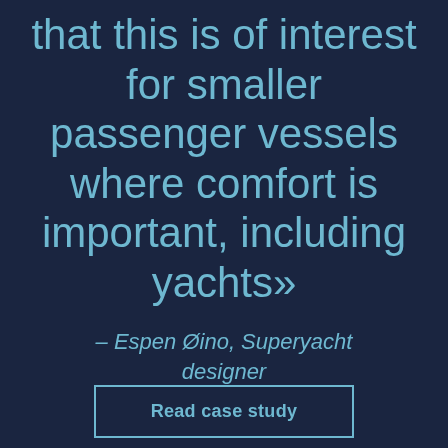that this is of interest for smaller passenger vessels where comfort is important, including yachts»
– Espen Øino, Superyacht designer
Read case study